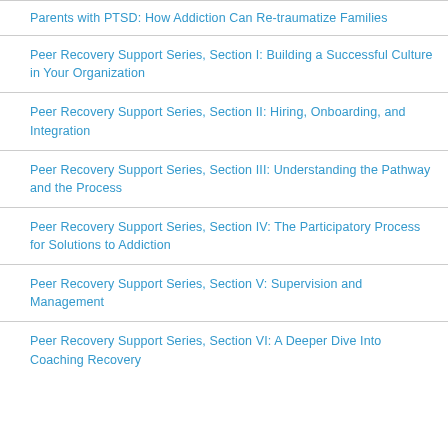Parents with PTSD: How Addiction Can Re-traumatize Families
Peer Recovery Support Series, Section I: Building a Successful Culture in Your Organization
Peer Recovery Support Series, Section II: Hiring, Onboarding, and Integration
Peer Recovery Support Series, Section III: Understanding the Pathway and the Process
Peer Recovery Support Series, Section IV: The Participatory Process for Solutions to Addiction
Peer Recovery Support Series, Section V: Supervision and Management
Peer Recovery Support Series, Section VI: A Deeper Dive Into Coaching Recovery